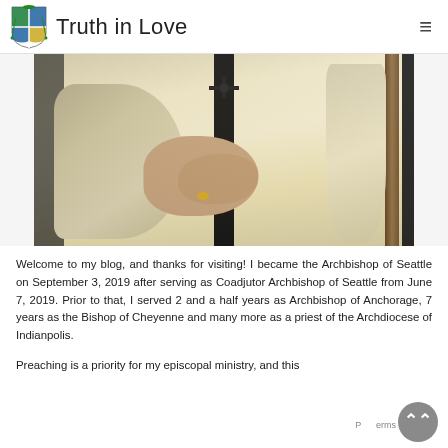Truth in Love
[Figure (photo): Close-up photo of a Catholic archbishop in cream/gold vestments with a dark stole, holding a pastoral staff, with a ring visible on one hand and a cross on the stole.]
Welcome to my blog, and thanks for visiting! I became the Archbishop of Seattle on September 3, 2019 after serving as Coadjutor Archbishop of Seattle from June 7, 2019. Prior to that, I served 2 and a half years as Archbishop of Anchorage, 7 years as the Bishop of Cheyenne and many more as a priest of the Archdiocese of Indianpolis.
Preaching is a priority for my episcopal ministry, and this